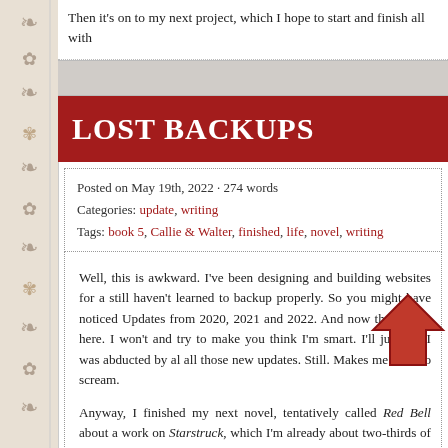Then it's on to my next project, which I hope to start and finish all with...
LOST BACKUPS
Posted on May 19th, 2022 · 274 words
Categories: update, writing
Tags: book 5, Callie & Walter, finished, life, novel, writing
Well, this is awkward. I've been designing and building websites for a... still haven't learned to backup properly. So you might have noticed Updates from 2020, 2021 and 2022. And now they're not here. I won't and try to make you think I'm smart. I'll just say I was abducted by al... all those new updates. Still. Makes me want to scream.
Anyway, I finished my next novel, tentatively called Red Bell about a... work on Starstruck, which I'm already about two-thirds of the way d... need a model for the front of the bookcover for Starstruck. The on... publication. I designed that to have a different kind of extension of my... built the Stone cover and wrote an article for this purpose. But now... someone else's image for the published book. Nor can I use Rolling S... interested in applying to be the face model for this book cover, tha...